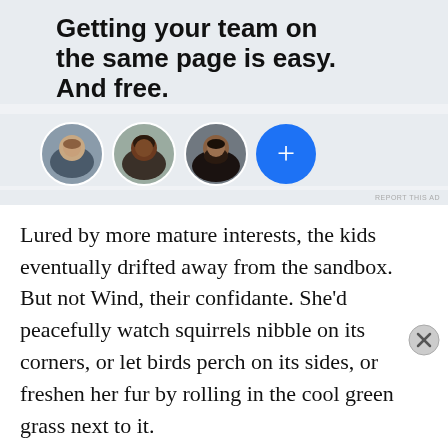Getting your team on the same page is easy. And free.
[Figure (illustration): Three circular avatar portraits of people and one blue circle with a plus sign, representing team members]
REPORT THIS AD
Lured by more mature interests, the kids eventually drifted away from the sandbox. But not Wind, their confidante. She'd peacefully watch squirrels nibble on its corners, or let birds perch on its sides, or freshen her fur by rolling in the cool green grass next to it.
Advertisements
[Figure (screenshot): DuckDuckGo advertisement banner: orange left side with text 'Search, browse, and email with more privacy. All in One Free App' and dark right side with DuckDuckGo logo]
REPORT THIS AD